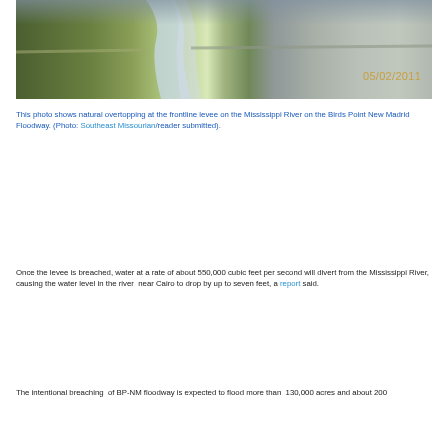[Figure (photo): Aerial photo dated 05/02/2011 showing natural overtopping at the frontline levee on the Mississippi River on the Birds Point New Madrid Floodway. The image shows green farmland on the left with water flowing over the levee, and gray/brown flooded area on the right.]
This photo shows natural overtopping at the frontline levee on the Mississippi River on the Birds Point New Madrid Floodway. (Photo: Southeast Missourian/reader submitted).
Once the levee is breached, water at a rate of about 550,000 cubic feet per second will divert from the Mississippi River, causing the water level in the river near Cairo to drop by up to seven feet, a report said.
The intentional breaching of BP-NM floodway is expected to flood more than 130,000 acres and about 200